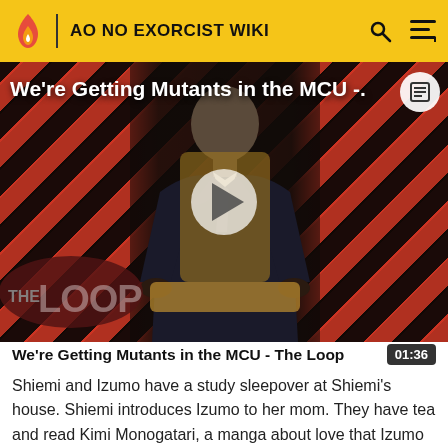AO NO EXORCIST WIKI
[Figure (screenshot): Video thumbnail for 'We're Getting Mutants in the MCU - The Loop' showing a bald man in a suit seated in a chair, with diagonal red and black stripe background, a white play button in the center, and THE LOOP logo in the lower left.]
We're Getting Mutants in the MCU - The Loop 01:36
Shiemi and Izumo have a study sleepover at Shiemi's house. Shiemi introduces Izumo to her mom. They have tea and read Kimi Monogatari, a manga about love that Izumo recommends to Shiemi to understand what it